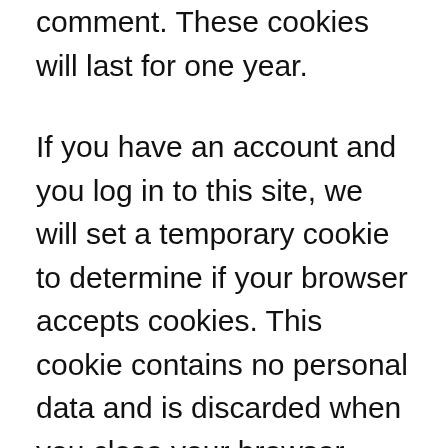comment. These cookies will last for one year.
If you have an account and you log in to this site, we will set a temporary cookie to determine if your browser accepts cookies. This cookie contains no personal data and is discarded when you close your browser.
When you log in, we will also set up several cookies to save your login information and your screen display